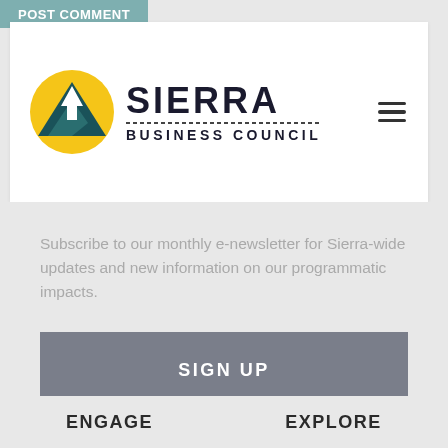POST COMMENT
[Figure (logo): Sierra Business Council logo: yellow sun circle with green mountain peak and white arrow, text 'SIERRA BUSINESS COUNCIL']
Subscribe to our monthly e-newsletter for Sierra-wide updates and new information on our programmatic impacts.
SIGN UP
ENGAGE
EXPLORE